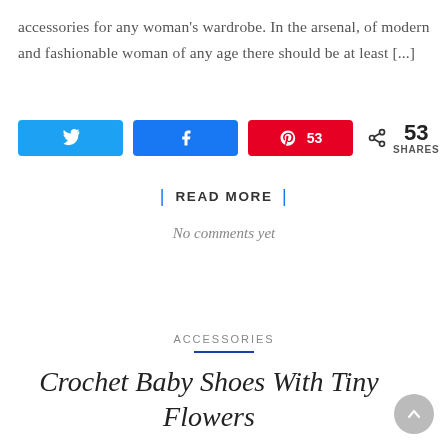accessories for any woman's wardrobe. In the arsenal, of modern and fashionable woman of any age there should be at least [...]
[Figure (infographic): Social share buttons: Twitter, Facebook, Pinterest (53 saves), and a share count showing 53 SHARES]
| READ MORE |
No comments yet
ACCESSORIES
Crochet Baby Shoes With Tiny Flowers